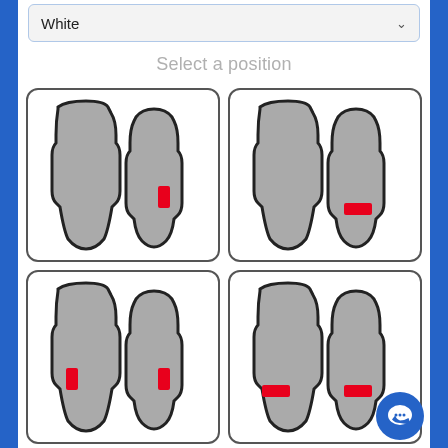[Figure (screenshot): Dropdown selector showing 'White' option with chevron arrow]
Select a position
[Figure (infographic): Four car floor mat position selector options shown in a 2x2 grid. Top-left: front two mats with red indicator on right mat. Top-right: rear two mats with red indicator on right mat. Bottom-left: all four mats with red indicators on both front mats. Bottom-right: all four mats with red indicators on both rear mats.]